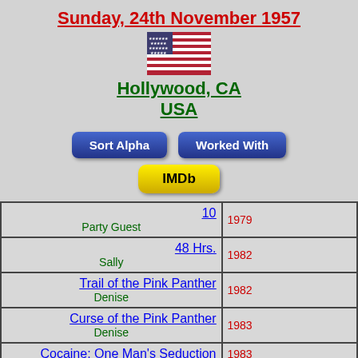Sunday, 24th November 1957
[Figure (illustration): US flag SVG]
Hollywood, CA
USA
Sort Alpha | Worked With
IMDb
| Film/Role | Year |
| --- | --- |
| 10 / Party Guest | 1979 |
| 48 Hrs. / Sally | 1982 |
| Trail of the Pink Panther / Denise | 1982 |
| Curse of the Pink Panther / Denise | 1983 |
| Cocaine: One Man's Seduction | 1983 |